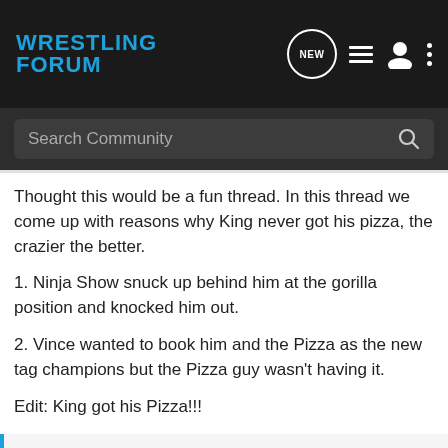WRESTLING FORUM
Thought this would be a fun thread. In this thread we come up with reasons why King never got his pizza, the crazier the better.
1. Ninja Show snuck up behind him at the gorilla position and knocked him out.
2. Vince wanted to book him and the Pizza as the new tag champions but the Pizza guy wasn't having it.
Edit: King got his Pizza!!!
@JerryLawler
Glad to see so many folks concerned about my Dominos pizza! It did arrive on time, but backstage, where Josh Matthews promptly